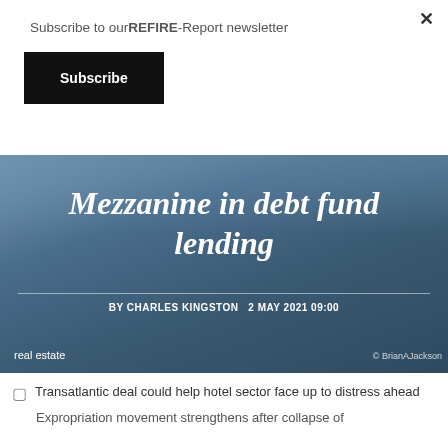Subscribe to ourREFIRE-Report newsletter
Subscribe
[Figure (photo): Dark blue-grey background photo (person in suit, blurred) with large italic white text article title and byline overlay]
Mezzanine in debt fund lending
BY CHARLES KINGSTON  2 MAY 2021 09:00
real estate
© BrianAJackson
Transatlantic deal could help hotel sector face up to distress ahead
Expropriation movement strengthens after collapse of